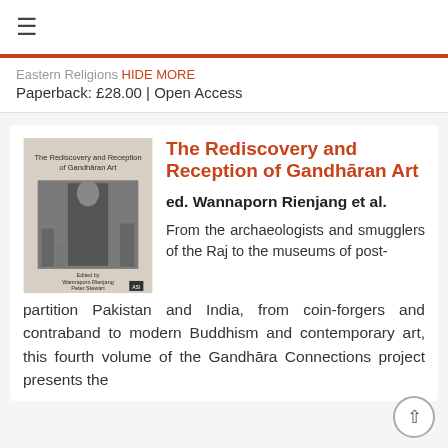≡
Eastern Religions HIDE MORE
Paperback: £28.00 | Open Access
The Rediscovery and Reception of Gandhāran Art
ed. Wannaporn Rienjang et al.
From the archaeologists and smugglers of the Raj to the museums of post-partition Pakistan and India, from coin-forgers and contraband to modern Buddhism and contemporary art, this fourth volume of the Gandhāra Connections project presents the